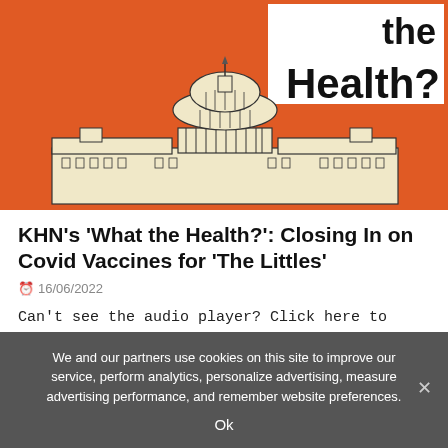[Figure (illustration): Illustrated artwork showing the US Capitol building in cream/beige line-drawing style against an orange background. White box in top-right corner with bold black text reading 'the Health?']
KHN's 'What the Health?': Closing In on Covid Vaccines for 'The Littles'
16/06/2022
Can't see the audio player? Click here to listen on Acast. You can also listen on Spotify, Apple Podcasts, Stitcher, Pocket Casts, or wherever you [...]
We and our partners use cookies on this site to improve our service, perform analytics, personalize advertising, measure advertising performance, and remember website preferences.
Ok